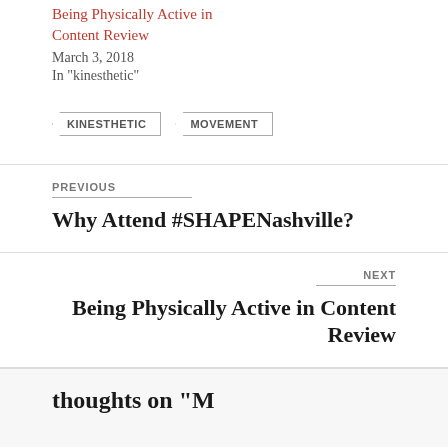Being Physically Active in Content Review
March 3, 2018
In "kinesthetic"
KINESTHETIC
MOVEMENT
PREVIOUS
Why Attend #SHAPENashville?
NEXT
Being Physically Active in Content Review
thoughts on "M...